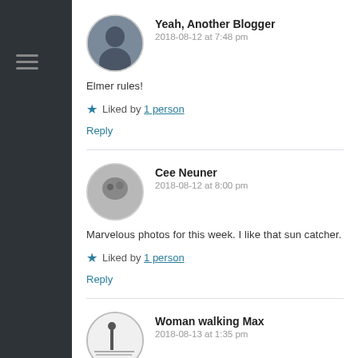Yeah, Another Blogger
2018-08-12 at 7:48 pm
Elmer rules!
★ Liked by 1 person
Reply
Cee Neuner
2018-08-12 at 8:00 pm
Marvelous photos for this week. I like that sun catcher.
★ Liked by 1 person
Reply
Woman walking Max
2018-08-13 at 1:35 pm
Like your account of the epic battle, and the whole business of baffling squirrels! How does that work exactly? Also beautiful images.